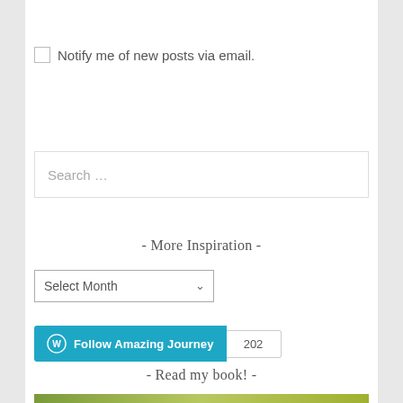Notify me of new posts via email.
Search …
- More Inspiration -
Select Month
[Figure (other): Follow Amazing Journey WordPress button with follower count 202]
- Read my book! -
[Figure (photo): Bottom strip of a book cover image, green/yellow tones]